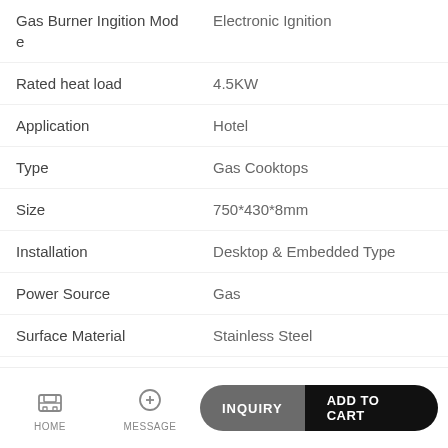| Attribute | Value |
| --- | --- |
| Gas Burner Ingition Mode | Electronic Ignition |
| Rated heat load | 4.5KW |
| Application | Hotel |
| Type | Gas Cooktops |
| Size | 750*430*8mm |
| Installation | Desktop & Embedded Type |
| Power Source | Gas |
| Surface Material | Stainless Steel |
| Protective Case | Flameout Protection |
| Power (W) | 0 |
HOME   MESSAGE   INQUIRY   ADD TO CART